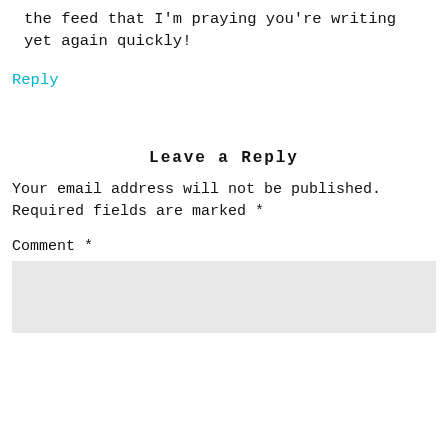the feed that I'm praying you're writing yet again quickly!
Reply
Leave a Reply
Your email address will not be published. Required fields are marked *
Comment *